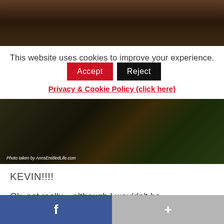[Figure (photo): Top portion of a black animal photo against outdoor background]
This website uses cookies to improve your experience.
Accept  Reject
Privacy & Cookie Policy (click here)
[Figure (photo): Photo of a black animal near sandy soil and green plants. Caption reads: Photo taken by AnnsEntitledLife.com]
KEVIN!!!!
Ok, not really – although I wouldn't be
f   +